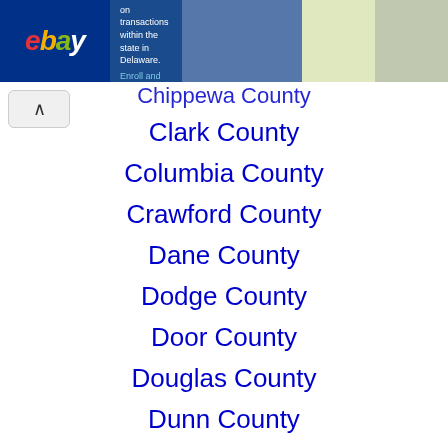[Figure (screenshot): eBay advertisement banner at top of page]
Chippewa County
Clark County
Columbia County
Crawford County
Dane County
Dodge County
Door County
Douglas County
Dunn County
Eau Claire County
Florence County